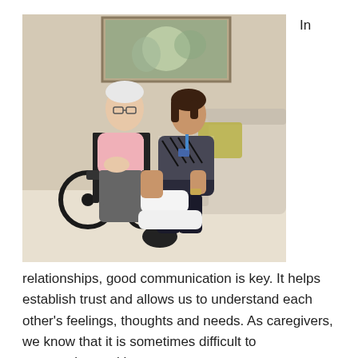[Figure (photo): An elderly man in a wheelchair wearing a pink shirt sits in a living room while a female healthcare caregiver kneels on the floor beside him, appearing to assist with his leg or foot. A painting hangs on the wall behind them and a couch is visible in the background.]
In
relationships, good communication is key. It helps establish trust and allows us to understand each other's feelings, thoughts and needs. As caregivers, we know that it is sometimes difficult to communicate with our